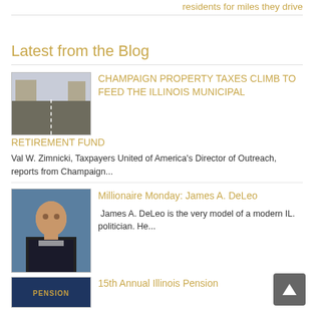residents for miles they drive
Latest from the Blog
CHAMPAIGN PROPERTY TAXES CLIMB TO FEED THE ILLINOIS MUNICIPAL RETIREMENT FUND
Val W. Zimnicki, Taxpayers United of America's Director of Outreach, reports from Champaign...
Millionaire Monday: James A. DeLeo
James A. DeLeo is the very model of a modern IL. politician. He...
15th Annual Illinois Pension